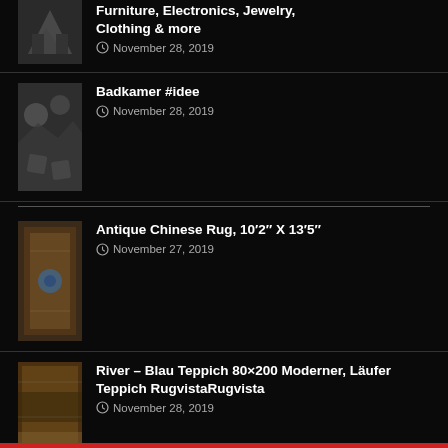Furniture, Electronics, Jewelry, Clothing & more — November 28, 2019
Badkamer #idee — November 28, 2019
Antique Chinese Rug, 10′2″ X 13′5″ — November 27, 2019
River – Blau Teppich 80×200 Moderner, Läufer Teppich RugvistaRugvista — November 28, 2019
Dean Premium Stair Gripper Tape Free Non-Slip Pet Friendly DIY Carpet Stair Treads 30"x9" (15) – Frontgate Gray — November 28, 2019